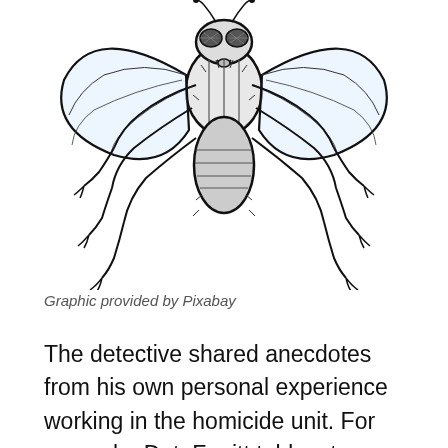[Figure (illustration): Black and white line drawing illustration of a fly (blowfly/housefly) viewed from above, showing detailed wings, legs, and body segments, cropped to show primarily the upper portion of the insect.]
Graphic provided by Pixabay
The detective shared anecdotes from his own personal experience working in the homicide unit. For example, Det. Fugitt told a story about a case he assisted on when he was first assigned to the homicide unit. The lead detective asked Fugitt to tell his close...